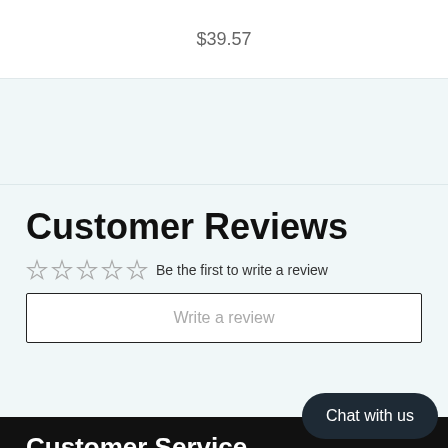$39.57
Customer Reviews
Be the first to write a review
Write a review
Chat with us
Customer Service